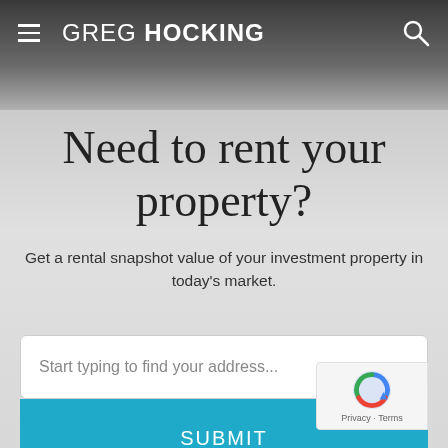GREG HOCKING
Need to rent your property?
Get a rental snapshot value of your investment property in today's market.
Start typing to find your address...
SUBMIT
Privacy · Terms